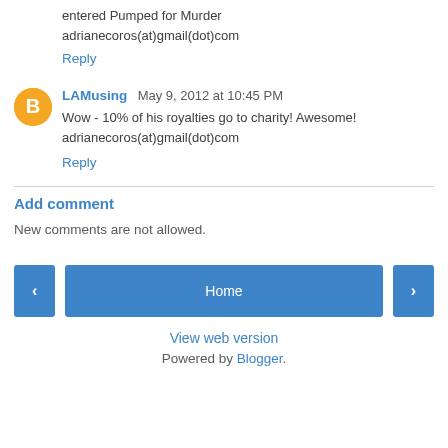entered Pumped for Murder
adrianecoros(at)gmail(dot)com
Reply
LAMusing  May 9, 2012 at 10:45 PM
Wow - 10% of his royalties go to charity! Awesome!
adrianecoros(at)gmail(dot)com
Reply
Add comment
New comments are not allowed.
Home
View web version
Powered by Blogger.